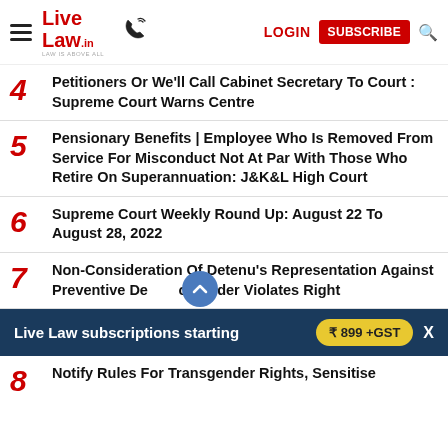Live Law - LOGIN - SUBSCRIBE
4 Petitioners Or We'll Call Cabinet Secretary To Court : Supreme Court Warns Centre
5 Pensionary Benefits | Employee Who Is Removed From Service For Misconduct Not At Par With Those Who Retire On Superannuation: J&K&L High Court
6 Supreme Court Weekly Round Up: August 22 To August 28, 2022
7 Non-Consideration Of Detenu's Representation Against Preventive Detention Order Violates Right
Live Law subscriptions starting ₹ 899 +GST
8 Notify Rules For Transgender Rights, Sensitise